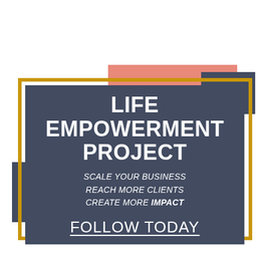[Figure (infographic): Life Empowerment Project promotional graphic with layered geometric rectangles in salmon, dark slate, and gold border. Contains bold white text reading LIFE EMPOWERMENT PROJECT, italic subtitle text SCALE YOUR BUSINESS / REACH MORE CLIENTS / CREATE MORE IMPACT, and underlined FOLLOW TODAY call to action.]
LIFE EMPOWERMENT PROJECT
SCALE YOUR BUSINESS
REACH MORE CLIENTS
CREATE MORE IMPACT
FOLLOW TODAY